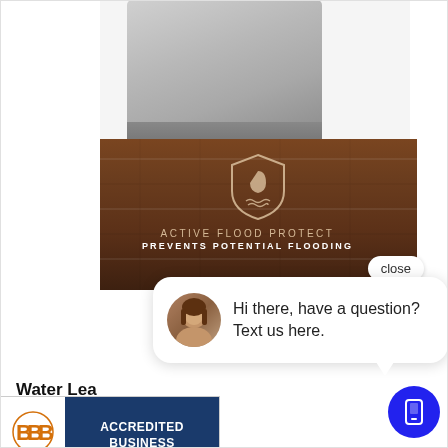[Figure (screenshot): Dishwasher appliance top with stainless steel finish viewed from above, placed on a wooden floor surface with Active Flood Protect branding overlay showing shield logo and text 'ACTIVE FLOOD PROTECT PREVENTS POTENTIAL FLOODING']
[Figure (screenshot): Chat popup overlay showing female avatar with message 'Hi there, have a question? Text us here.' with close button]
Water Lea[k Protection]
This dishwa[sher] prevents po[tential flooding, giving you peace of] mind. A water sensor alarm cancels the wash cycle before a flood may occur and alerts you with blin[king light and] tone
[Figure (logo): BBB Accredited Business badge with blue background showing 'ACCREDITED BUSINESS' text and BBB logo]
[Figure (other): Blue circular mobile chat/text button icon in bottom right corner]